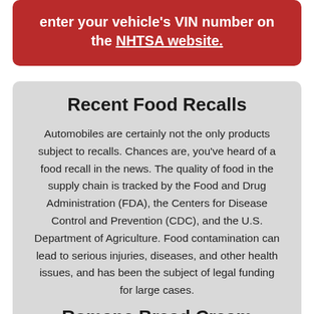enter your vehicle's VIN number on the NHTSA website.
Recent Food Recalls
Automobiles are certainly not the only products subject to recalls. Chances are, you've heard of a food recall in the news. The quality of food in the supply chain is tracked by the Food and Drug Administration (FDA), the Centers for Disease Control and Prevention (CDC), and the U.S. Department of Agriculture. Food contamination can lead to serious injuries, diseases, and other health issues, and has been the subject of legal funding for large cases.
Romaine Bread Cream Cheese